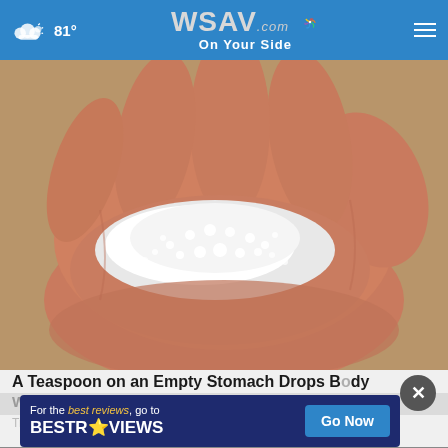81° WSAV.com On Your Side
[Figure (photo): A close-up photo of a human hand holding a pile of white granular salt or powder]
A Teaspoon on an Empty Stomach Drops Body Weight Like Crazy!
Trending
[Figure (screenshot): Advertisement banner: For the best reviews, go to BESTREVIEWS with a Go Now button]